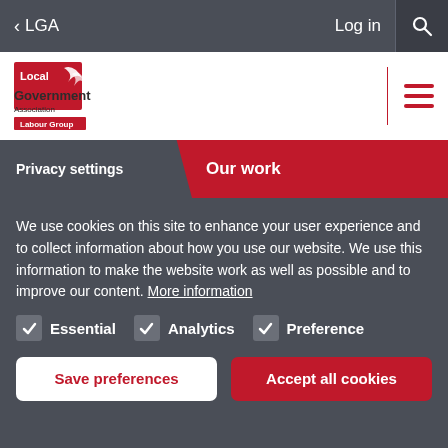< LGA   Log in 🔍
[Figure (logo): Local Government Association Labour Group logo — red and white logo with stylized LGA branding]
Privacy settings   Our work
We use cookies on this site to enhance your user experience and to collect information about how you use our website. We use this information to make the website work as well as possible and to improve our content. More information
✓ Essential   ✓ Analytics   ✓ Preference
Save preferences   Accept all cookies